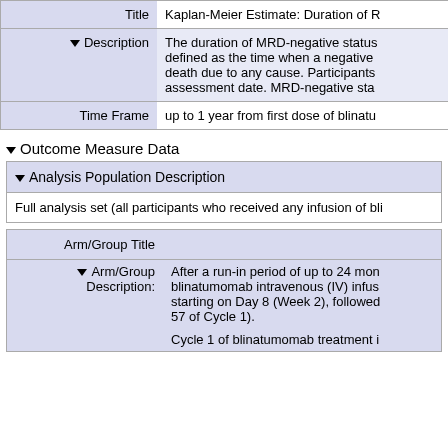| Label | Value |
| --- | --- |
| Title | Kaplan-Meier Estimate: Duration of R... |
| Description | The duration of MRD-negative status defined as the time when a negative death due to any cause. Participants assessment date. MRD-negative sta... |
| Time Frame | up to 1 year from first dose of blinatu... |
▾ Outcome Measure Data
▾ Analysis Population Description
Full analysis set (all participants who received any infusion of bli...
| Arm/Group Title |  |
| --- | --- |
| ▾ Arm/Group Description: | After a run-in period of up to 24 mon... blinatumomab intravenous (IV) infus... starting on Day 8 (Week 2), followed... 57 of Cycle 1). |
|  | Cycle 1 of blinatumomab treatment i... |